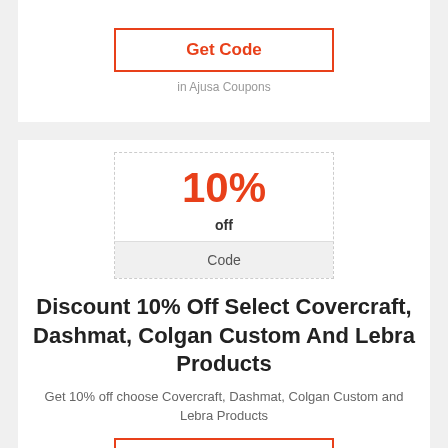Get Code
in Ajusa Coupons
10%
off
Code
Discount 10% Off Select Covercraft, Dashmat, Colgan Custom And Lebra Products
Get 10% off choose Covercraft, Dashmat, Colgan Custom and Lebra Products
Get Code